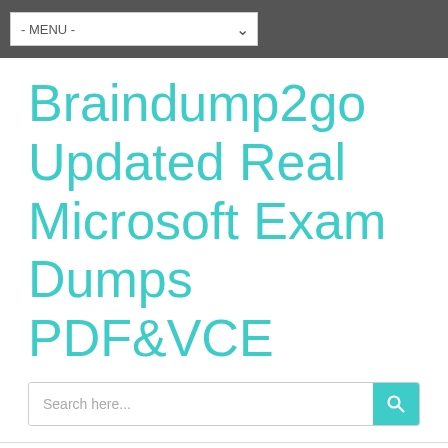- MENU -
Braindump2go Updated Real Microsoft Exam Dumps PDF&VCE
Search here...
- MENU -
Tag Archive: 70-497 Free